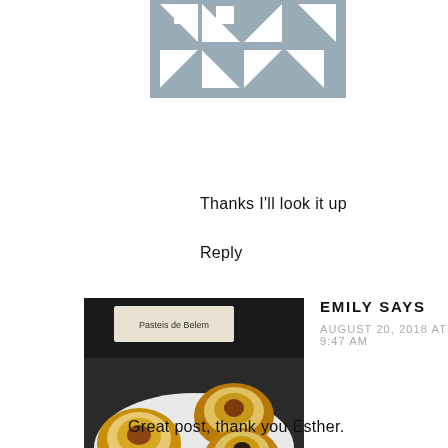[Figure (logo): Gray geometric avatar/logo made of squares and triangles arranged in a grid pattern]
Thanks I'll look it up
Reply
[Figure (photo): Photo of pasteis de nata (Portuguese custard tarts) on a plate, with a box labeled 'Pasteis de Belem' in the background]
EMILY SAYS
AUGUST 20, 2018 AT 9:47 AM
Great post, thank you Esther.